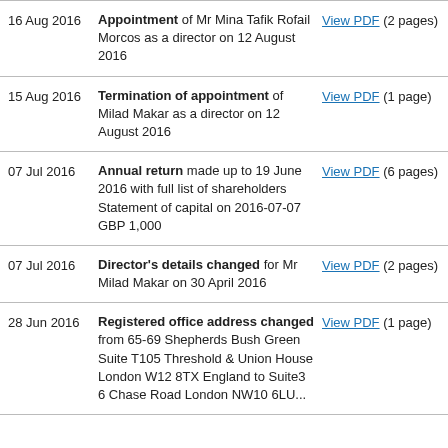16 Aug 2016 | Appointment of Mr Mina Tafik Rofail Morcos as a director on 12 August 2016 | View PDF (2 pages)
15 Aug 2016 | Termination of appointment of Milad Makar as a director on 12 August 2016 | View PDF (1 page)
07 Jul 2016 | Annual return made up to 19 June 2016 with full list of shareholders Statement of capital on 2016-07-07 GBP 1,000 | View PDF (6 pages)
07 Jul 2016 | Director's details changed for Mr Milad Makar on 30 April 2016 | View PDF (2 pages)
28 Jun 2016 | Registered office address changed from 65-69 Shepherds Bush Green Suite T105 Threshold & Union House London W12 8TX England to Suite3 6 Chase Road London NW10 6LU... | View PDF (1 page)